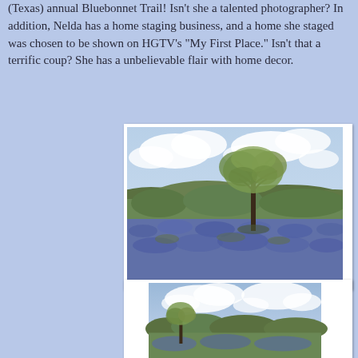(Texas) annual Bluebonnet Trail! Isn't she a talented photographer? In addition, Nelda has a home staging business, and a home she staged was chosen to be shown on HGTV's "My First Place." Isn't that a terrific coup? She has a unbelievable flair with home decor.
[Figure (photo): Photograph of a Texas bluebonnet field with a lone tree in the middle distance, green hills in the background, and a partly cloudy sky.]
[Figure (photo): Photograph of another view of Texas bluebonnet fields with trees and a partly cloudy sky, partially visible at the bottom of the page.]